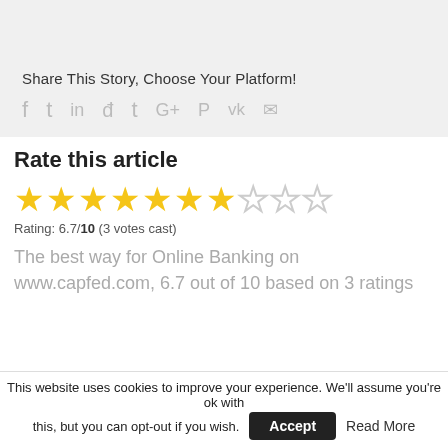[Figure (other): Gray background block at top of page (empty content area)]
Share This Story, Choose Your Platform!
[Figure (infographic): Social sharing icons: Facebook, Twitter, LinkedIn, Reddit, Tumblr, Google+, Pinterest, VK, Email]
Rate this article
[Figure (other): Star rating display: 7 filled stars and 3 empty stars out of 10]
Rating: 6.7/10 (3 votes cast)
The best way for Online Banking on www.capfed.com, 6.7 out of 10 based on 3 ratings
This website uses cookies to improve your experience. We'll assume you're ok with this, but you can opt-out if you wish.